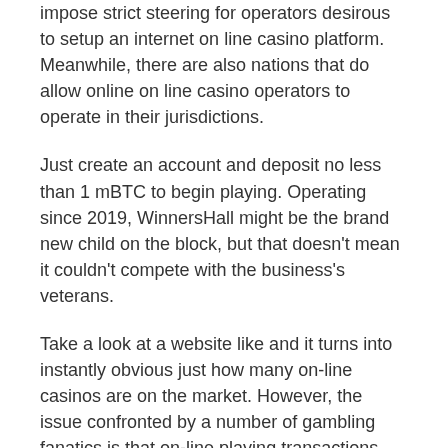impose strict steering for operators desirous to setup an internet on line casino platform. Meanwhile, there are also nations that do allow online on line casino operators to operate in their jurisdictions.
Just create an account and deposit no less than 1 mBTC to begin playing. Operating since 2019, WinnersHall might be the brand new child on the block, but that doesn't mean it couldn't compete with the business's veterans.
Take a look at a website like and it turns into instantly obvious just how many on-line casinos are on the market. However, the issue confronted by a number of gambling fanatics is that on-line playing transactions utilizing conventional forex are prohibited beneath nationwide laws. This applies to international locations together with the USA, Australia and Russia. Gambling is big enterprise, and the rise of the web over the previous couple of decades has made online casinos